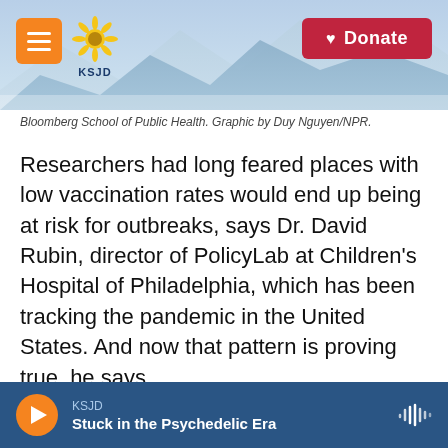[Figure (screenshot): KSJD radio website header with orange menu button, KSJD sunflower logo, mountain silhouette background, and red Donate button]
Bloomberg School of Public Health. Graphic by Duy Nguyen/NPR.
Researchers had long feared places with low vaccination rates would end up being at risk for outbreaks, says Dr. David Rubin, director of PolicyLab at Children's Hospital of Philadelphia, which has been tracking the pandemic in the United States. And now that pattern is proving true, he says.
You can see this play out vividly in the different parts of Missouri, he notes. For example, St. Louis
KSJD — Stuck in the Psychedelic Era